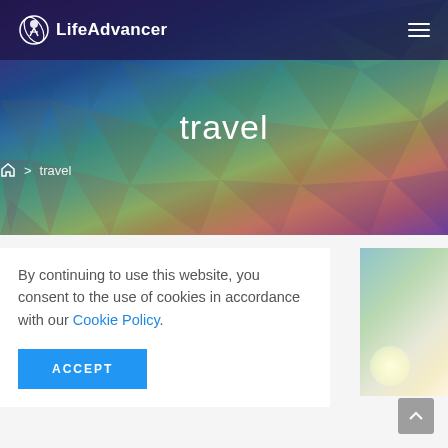[Figure (screenshot): LifeAdvancer website header with navigation bar showing logo and hamburger menu, over a colorful low-poly geometric background]
travel
⌂  >  travel
By continuing to use this website, you consent to the use of cookies in accordance with our Cookie Policy.
ACCEPT
[Figure (photo): Blurred soft-focus photo with light bokeh effect in greens and light tones]